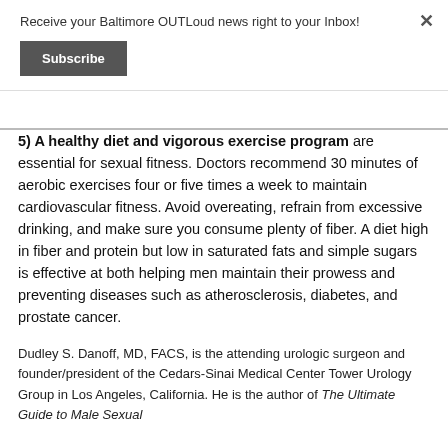Receive your Baltimore OUTLoud news right to your Inbox!
Subscribe
5) A healthy diet and vigorous exercise program are essential for sexual fitness. Doctors recommend 30 minutes of aerobic exercises four or five times a week to maintain cardiovascular fitness. Avoid overeating, refrain from excessive drinking, and make sure you consume plenty of fiber. A diet high in fiber and protein but low in saturated fats and simple sugars is effective at both helping men maintain their prowess and preventing diseases such as atherosclerosis, diabetes, and prostate cancer.
Dudley S. Danoff, MD, FACS, is the attending urologic surgeon and founder/president of the Cedars-Sinai Medical Center Tower Urology Group in Los Angeles, California. He is the author of The Ultimate Guide to Male Sexual